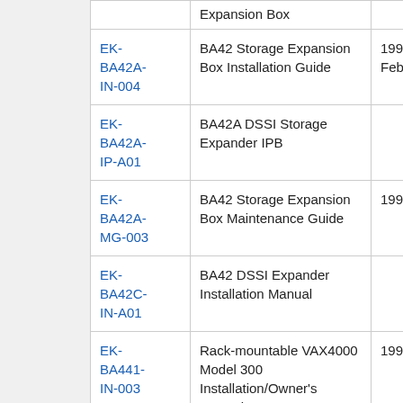| Code | Title | Date |
| --- | --- | --- |
| EK-BA42A-IN-004 | BA42 Storage Expansion Box Installation Guide | 1992 February |
| EK-BA42A-IP-A01 | BA42A DSSI Storage Expander IPB |  |
| EK-BA42A-MG-003 | BA42 Storage Expansion Box Maintenance Guide | 1991 April |
| EK-BA42C-IN-A01 | BA42 DSSI Expander Installation Manual |  |
| EK-BA441-IN-003 | Rack-mountable VAX4000 Model 300 Installation/Owner's Manual | 1991 May |
|  | BA400 Series |  |